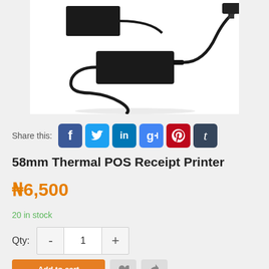[Figure (photo): Product photo of a 58mm Thermal POS Receipt Printer power adapter/brick with cables on a white background]
Share this: [Facebook] [Twitter] [LinkedIn] [Google+] [Pinterest] [Tumblr]
58mm Thermal POS Receipt Printer
₦6,500
20 in stock
Qty: - 1 +
Add to cart